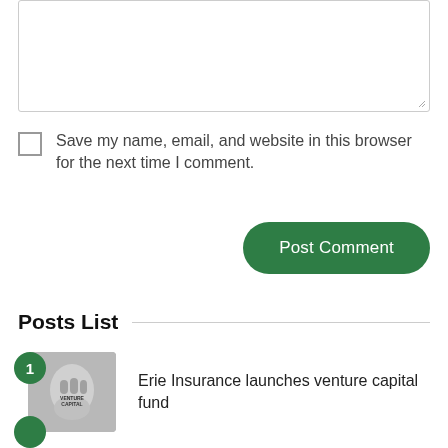[Textarea input field]
Save my name, email, and website in this browser for the next time I comment.
Post Comment
Posts List
Erie Insurance launches venture capital fund